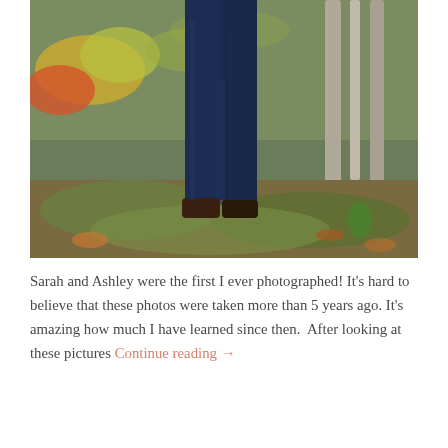[Figure (photo): Outdoor autumn forest photo showing legs of a person wearing dark blue jeans and brown shoes standing on mossy ground with fallen leaves, trees in background with autumn foliage]
Sarah and Ashley were the first I ever photographed! It's hard to believe that these photos were taken more than 5 years ago. It's amazing how much I have learned since then. After looking at these pictures Continue reading →